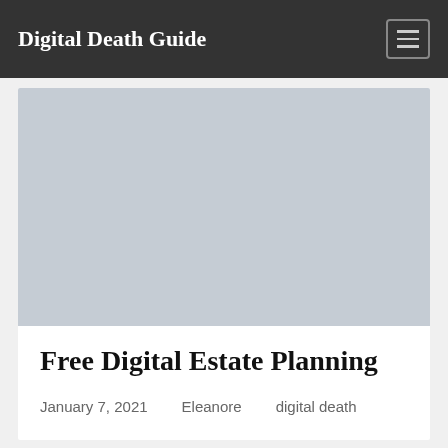Digital Death Guide
[Figure (photo): Gray placeholder image for article header]
Free Digital Estate Planning
January 7, 2021   Eleanore   digital death